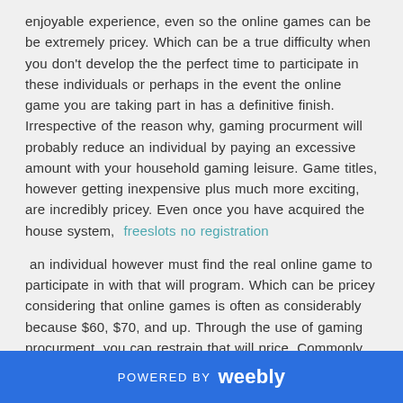enjoyable experience, even so the online games can be be extremely pricey. Which can be a true difficulty when you don't develop the the perfect time to participate in these individuals or perhaps in the event the online game you are taking part in has a definitive finish. Irrespective of the reason why, gaming procurment will probably reduce an individual by paying an excessive amount with your household gaming leisure. Game titles, however getting inexpensive plus much more exciting, are incredibly pricey. Even once you have acquired the house system,  freeslots no registration
an individual however must find the real online game to participate in with that will program. Which can be pricey considering that online games is often as considerably because $60, $70, and up. Through the use of gaming procurment, you can restrain that will price. Commonly you can rent a sport intended for a few money and also preserve the item for a couple days and nights. If you don't participate in the body very often, then you have rescued a ton of money
POWERED BY weebly